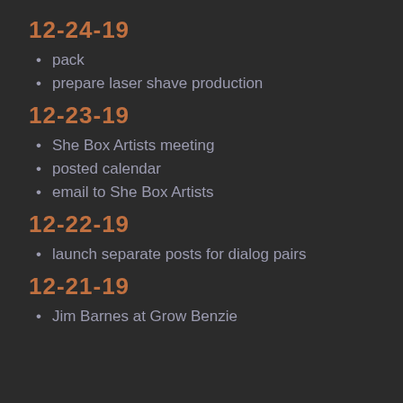12-24-19
pack
prepare laser shave production
12-23-19
She Box Artists meeting
posted calendar
email to She Box Artists
12-22-19
launch separate posts for dialog pairs
12-21-19
Jim Barnes at Grow Benzie